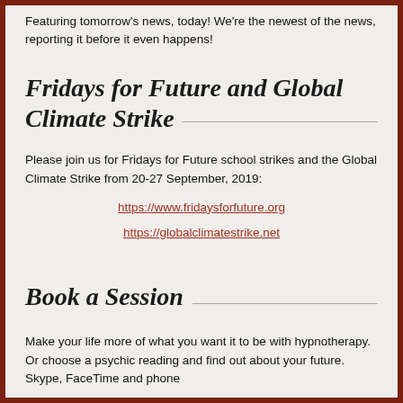Featuring tomorrow's news, today! We're the newest of the news, reporting it before it even happens!
Fridays for Future and Global Climate Strike
Please join us for Fridays for Future school strikes and the Global Climate Strike from 20-27 September, 2019:
https://www.fridaysforfuture.org
https://globalclimatestrike.net
Book a Session
Make your life more of what you want it to be with hypnotherapy. Or choose a psychic reading and find out about your future. Skype, FaceTime and phone